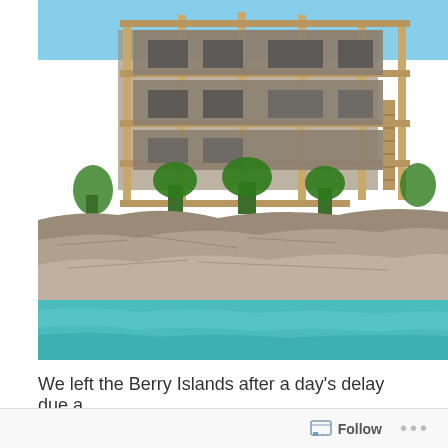[Figure (photo): A building under construction with wooden scaffolding, situated on a rocky cliff above turquoise water. Palm trees and tropical vegetation are visible around the structure.]
We left the Berry Islands after a day's delay due a